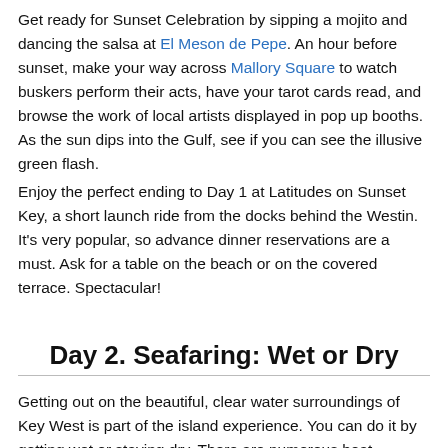Get ready for Sunset Celebration by sipping a mojito and dancing the salsa at El Meson de Pepe. An hour before sunset, make your way across Mallory Square to watch buskers perform their acts, have your tarot cards read, and browse the work of local artists displayed in pop up booths. As the sun dips into the Gulf, see if you can see the illusive green flash.
Enjoy the perfect ending to Day 1 at Latitudes on Sunset Key, a short launch ride from the docks behind the Westin. It's very popular, so advance dinner reservations are a must. Ask for a table on the beach or on the covered terrace. Spectacular!
Day 2. Seafaring: Wet or Dry
Getting out on the beautiful, clear water surroundings of Key West is part of the island experience. You can do it by getting wet or staying dry. There are numerous boat excursions offering similar